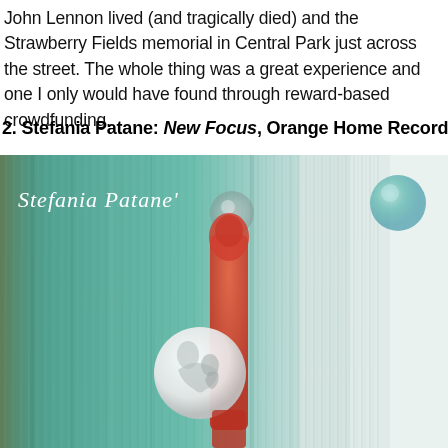John Lennon lived (and tragically died) and the Strawberry Fields memorial in Central Park just across the street. The whole thing was a great experience and one I only would have found through reward-based crowdfunding.
2. Stefania Patane: New Focus, Orange Home Records
[Figure (illustration): Album cover art for Stefania Patane's 'New Focus' on Orange Home Records. Painted illustration with teal/blue textured background. Script text 'Stefania Patane' in top left. Two bubble/sphere shapes - one grey in upper middle, one teal/green in upper right. Central figure: stylized red vertical form with a white circular emblem showing two embracing figures. The painting has a watercolor/pencil style.]